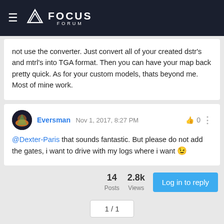FOCUS FORUM
not use the converter. Just convert all of your created dstr's and mtrl's into TGA format. Then you can have your map back pretty quick. As for your custom models, thats beyond me. Most of mine work.
Eversman Nov 1, 2017, 8:27 PM  0
@Dexter-Paris that sounds fantastic. But please do not add the gates, i want to drive with my logs where i want 😉
14 Posts  2.8k Views  Log in to reply
1 / 1